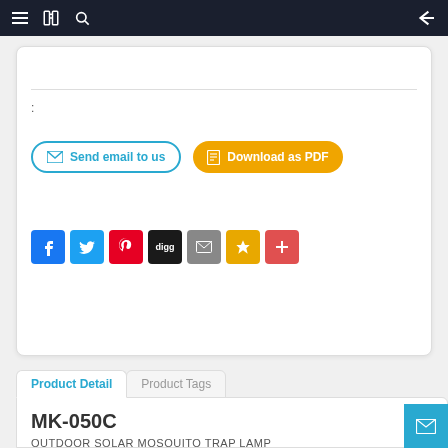Navigation bar with menu, book, search icons and back arrow
:
[Figure (screenshot): Two buttons: 'Send email to us' (blue outline) and 'Download as PDF' (orange filled)]
[Figure (screenshot): Social sharing icons: Facebook, Twitter, Pinterest, Digg, Email, Star, Plus]
Product Detail | Product Tags (tab navigation)
MK-050C
OUTDOOR SOLAR MOSQUITO TRAP LAMP